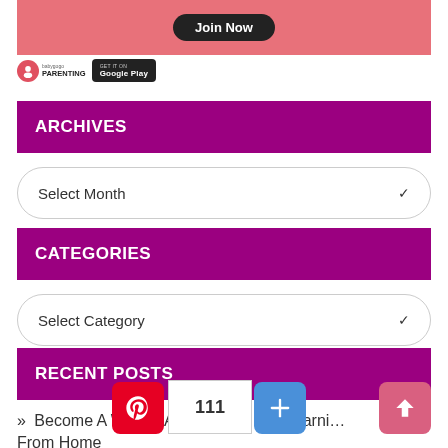[Figure (screenshot): Pink banner with Join Now button]
[Figure (logo): Babygogo app badge and Google Play store badge]
ARCHIVES
[Figure (screenshot): Select Month dropdown]
CATEGORIES
[Figure (screenshot): Select Category dropdown]
RECENT POSTS
» Become A Wealth Advisor And Start Earning From Home
[Figure (screenshot): Pinterest share button, count 111, plus button, and back-to-top arrow button]